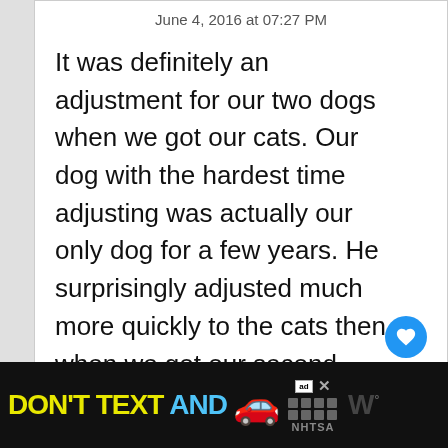June 4, 2016 at 07:27 PM
It was definitely an adjustment for our two dogs when we got our cats. Our dog with the hardest time adjusting was actually our only dog for a few years. He surprisingly adjusted much more quickly to the cats then when we got our second dog. Thankfully, everyone is happy now. I don't need that stress. 🙂
↩ Reply
[Figure (infographic): WHAT'S NEXT → Introducing Cats and Dogs with thumbnail image]
[Figure (infographic): Advertisement banner: DON'T TEXT AND [car emoji] ad NHTSA logo]